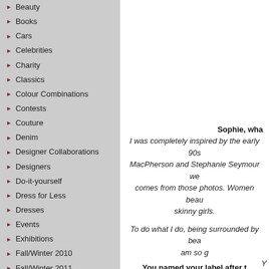Beauty
Books
Cars
Celebrities
Charity
Classics
Colour Combinations
Contests
Couture
Denim
Designer Collaborations
Designers
Do-it-yourself
Dress for Less
Dresses
Events
Exhibitions
Fall/Winter 2010
Fall/Winter 2011
Fall/Winter 2012
Fall/Winter 2013
Fall/Winter 2014
Sophie, wha
I was completely inspired by the early 90s MacPherson and Stephanie Seymour we comes from those photos. Women beau skinny girls.
To do what I do, being surrounded by bea am so g
You named your label after t
My sons are great, t
Y